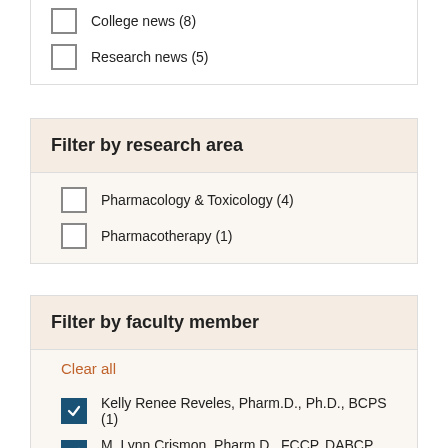College news (8)
Research news (5)
Filter by research area
Pharmacology & Toxicology (4)
Pharmacotherapy (1)
Filter by faculty member
Clear all
Kelly Renee Reveles, Pharm.D., Ph.D., BCPS (1)
M. Lynn Crismon, Pharm.D., FCCP, DABCP, BCPP (1)